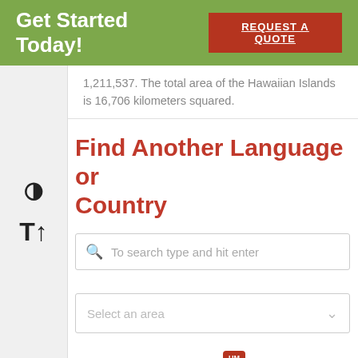Get Started Today! REQUEST A QUOTE
1,211,537. The total area of the Hawaiian Islands is 16,706 kilometers squared.
Find Another Language or Country
To search type and hit enter
Select an area
[Figure (map): Partial map of Pacific island areas with labeled location badges: UM, MP, GU, MH, PW, FM, NR, KI, HI and dots indicating island locations]